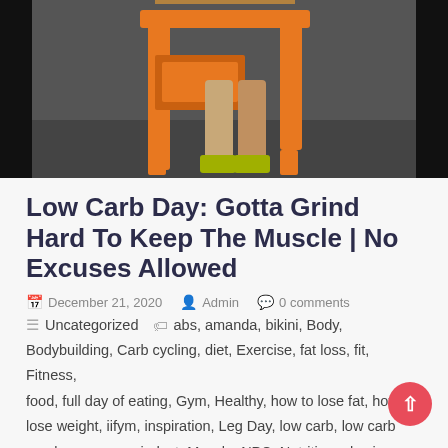[Figure (photo): Fitness/gym photo showing a person's legs next to an orange gym machine against a dark background]
Low Carb Day: Gotta Grind Hard To Keep The Muscle | No Excuses Allowed
December 21, 2020   Admin   0 comments
Uncategorized   abs, amanda, bikini, Body, Bodybuilding, Carb cycling, diet, Exercise, fat loss, fit, Fitness, food, full day of eating, Gym, Healthy, how to lose fat, how to lose weight, iifym, inspiration, Leg Day, low carb, low carb meals, macros, mindset, Muscle, NPC, Nutrition, physique, prep, Training, vlog, vlogger, weight loss, what i eat in a day, workout